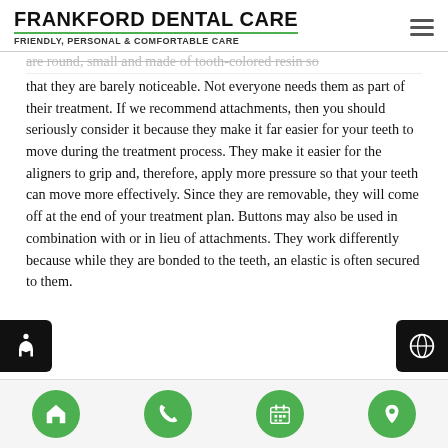Frankford Dental Care — Friendly, Personal & Comfortable Care
are round, small and made of tooth-colored resin so that they are barely noticeable. Not everyone needs them as part of their treatment. If we recommend attachments, then you should seriously consider it because they make it far easier for your teeth to move during the treatment process. They make it easier for the aligners to grip and, therefore, apply more pressure so that your teeth can move more effectively. Since they are removable, they will come off at the end of your treatment plan. Buttons may also be used in combination with or in lieu of attachments. They work differently because while they are bonded to the teeth, an elastic is often secured to them.